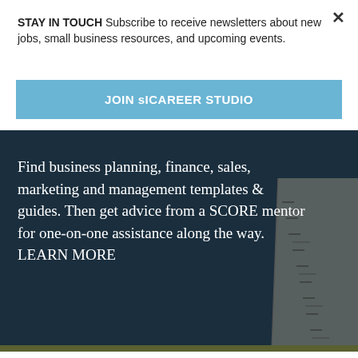STAY IN TOUCH Subscribe to receive newsletters about new jobs, small business resources, and upcoming events.
JOIN sICAREER STUDIO
Find business planning, finance, sales, marketing and management templates & guides. Then get advice from a SCORE mentor for one-on-one assistance along the way. LEARN MORE